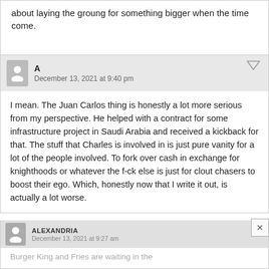about laying the groung for something bigger when the time come.
A
December 13, 2021 at 9:40 pm
I mean. The Juan Carlos thing is honestly a lot more serious from my perspective. He helped with a contract for some infrastructure project in Saudi Arabia and received a kickback for that. The stuff that Charles is involved in is just pure vanity for a lot of the people involved. To fork over cash in exchange for knighthoods or whatever the f-ck else is just for clout chasers to boost their ego. Which, honestly now that I write it out, is actually a lot worse.
ALEXANDRIA
December 13, 2021 at 9:27 am
Burger King and Fries are waiting in the